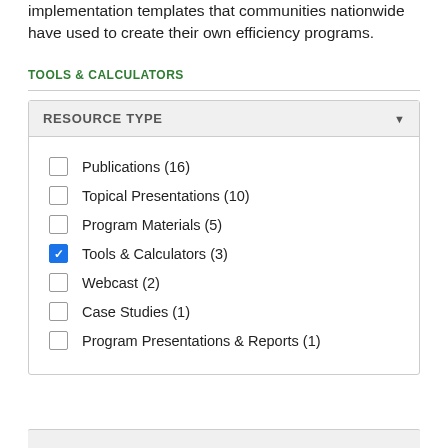implementation templates that communities nationwide have used to create their own efficiency programs.
TOOLS & CALCULATORS
Publications (16)
Topical Presentations (10)
Program Materials (5)
Tools & Calculators (3) [checked]
Webcast (2)
Case Studies (1)
Program Presentations & Reports (1)